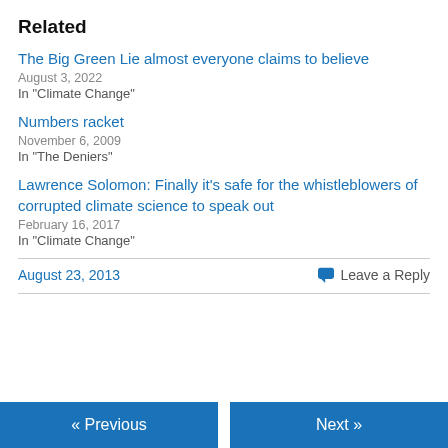Related
The Big Green Lie almost everyone claims to believe
August 3, 2022
In "Climate Change"
Numbers racket
November 6, 2009
In "The Deniers"
Lawrence Solomon: Finally it's safe for the whistleblowers of corrupted climate science to speak out
February 16, 2017
In "Climate Change"
August 23, 2013
Leave a Reply
« Previous
Next »